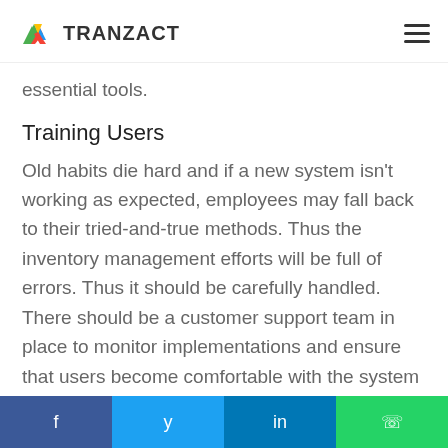TRANZACT
essential tools.
Training Users
Old habits die hard and if a new system isn't working as expected, employees may fall back to their tried-and-true methods. Thus the inventory management efforts will be full of errors. Thus it should be carefully handled. There should be a customer support team in place to monitor implementations and ensure that users become comfortable with the system to take advantage of it as soon as possi